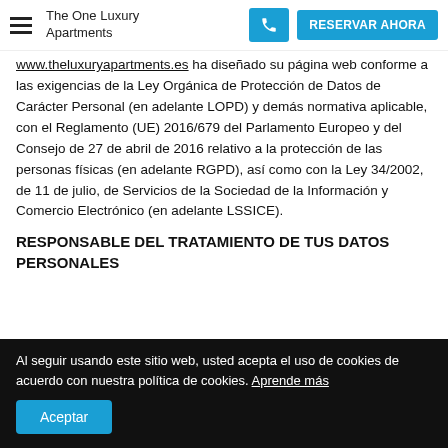The One Luxury Apartments | RESERVAR AHORA
www.theluxuryapartments.es ha diseñado su página web conforme a las exigencias de la Ley Orgánica de Protección de Datos de Carácter Personal (en adelante LOPD) y demás normativa aplicable, con el Reglamento (UE) 2016/679 del Parlamento Europeo y del Consejo de 27 de abril de 2016 relativo a la protección de las personas físicas (en adelante RGPD), así como con la Ley 34/2002, de 11 de julio, de Servicios de la Sociedad de la Información y Comercio Electrónico (en adelante LSSICE).
RESPONSABLE DEL TRATAMIENTO DE TUS DATOS PERSONALES
Al seguir usando este sitio web, usted acepta el uso de cookies de acuerdo con nuestra política de cookies. Aprende más
Aceptar